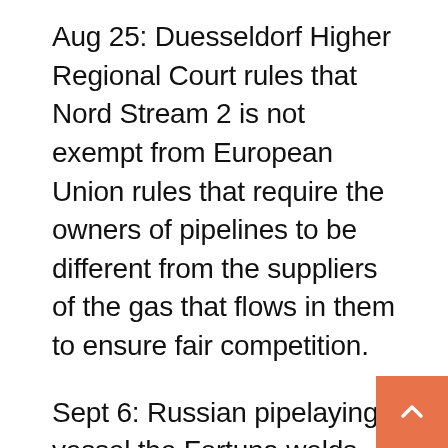Aug 25: Duesseldorf Higher Regional Court rules that Nord Stream 2 is not exempt from European Union rules that require the owners of pipelines to be different from the suppliers of the gas that flows in them to ensure fair competition.
Sept 6: Russian pipelaying vessel the Fortuna welds the final piece of pipe into place.
Sept 10: Gazprom says it has completed the construction of the pipeline from Russia to Germany.
Sept 13: Germany’s energy regulator said it had four months to complete certification of the Nord Stream 2.